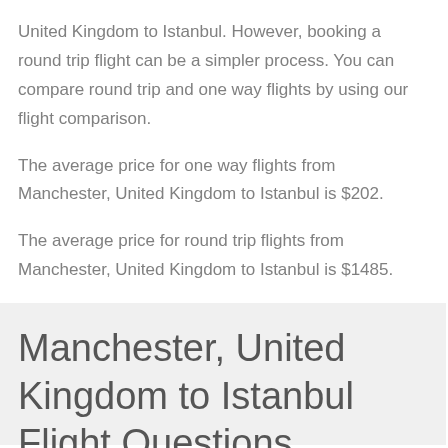United Kingdom to Istanbul. However, booking a round trip flight can be a simpler process. You can compare round trip and one way flights by using our flight comparison.
The average price for one way flights from Manchester, United Kingdom to Istanbul is $202.
The average price for round trip flights from Manchester, United Kingdom to Istanbul is $1485.
Manchester, United Kingdom to Istanbul Flight Questions